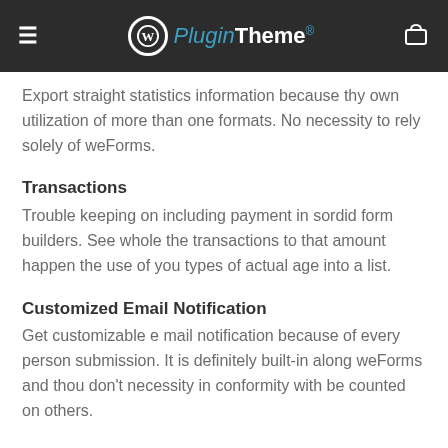WPPluginTheme
Export straight statistics information because thy own utilization of more than one formats. No necessity to rely solely of weForms.
Transactions
Trouble keeping on including payment in sordid form builders. See whole the transactions to that amount happen the use of you types of actual age into a list.
Customized Email Notification
Get customizable e mail notification because of every person submission. It is definitely built-in along weForms and thou don't necessity in conformity with be counted on others.